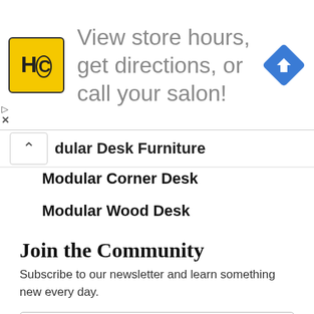[Figure (infographic): HC salon locator advertisement banner with yellow HC logo on left, text 'View store hours, get directions, or call your salon!' in gray, and a blue diamond navigation arrow icon on the right.]
dular Desk Furniture
Modular Corner Desk
Modular Wood Desk
Join the Community
Subscribe to our newsletter and learn something new every day.
Name
Email Address